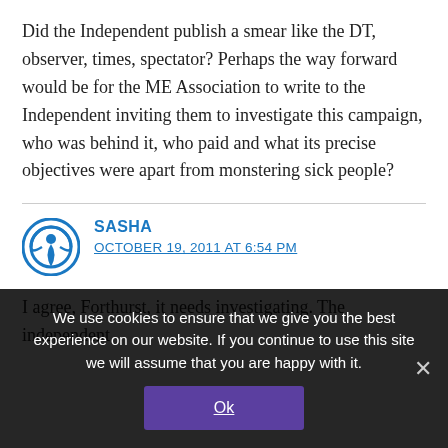Did the Independent publish a smear like the DT, observer, times, spectator? Perhaps the way forward would be for the ME Association to write to the Independent inviting them to investigate this campaign, who was behind it, who paid and what its precise objectives were apart from monstering sick people?
SASHA
OCTOBER 19, 2011 AT 6:54 PM
I agree, Forthurst, it needs investigating. The independent
We use cookies to ensure that we give you the best experience on our website. If you continue to use this site we will assume that you are happy with it.
Ok